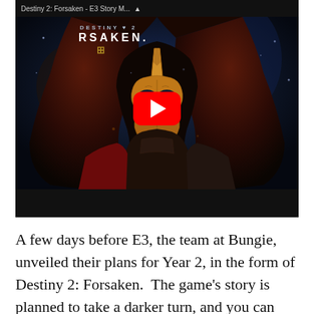[Figure (screenshot): YouTube video thumbnail for Destiny 2: Forsaken story trailer showing a dark hooded figure with a golden mask, with the YouTube play button overlay in the center. Top bar shows video title 'Destiny 2: Forsaken - E3 Story M...' and branding text 'DESTINY 2 FORSAKEN' with a symbol.]
A few days before E3, the team at Bungie, unveiled their plans for Year 2, in the form of Destiny 2: Forsaken.  The game's story is planned to take a darker turn, and you can one of the